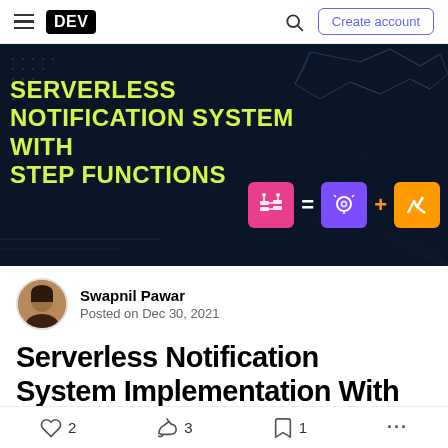DEV — Create account
[Figure (illustration): Dark navy hero banner with yellow bold text reading 'SERVERLESS NOTIFICATION SYSTEM WITH STEP FUNCTIONS' and icons showing Step Functions = Amazon Rekognition + AWS Lambda]
Swapnil Pawar
Posted on Dec 30, 2021
Serverless Notification System Implementation With
2 reactions, 3 reactions (unicorn), 1 bookmark, more options